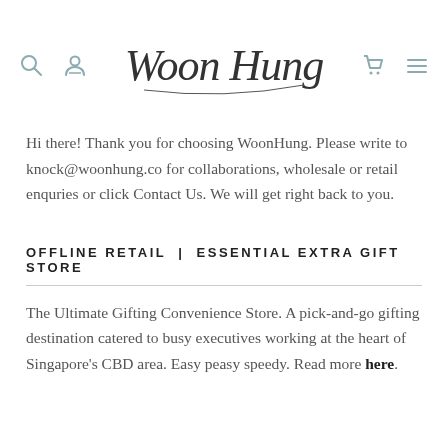Woon Hung (logo with search, account, cart, menu icons)
Hi there! Thank you for choosing WoonHung. Please write to knock@woonhung.co for collaborations, wholesale or retail enquries or click Contact Us. We will get right back to you.
OFFLINE RETAIL  |  ESSENTIAL EXTRA GIFT STORE
The Ultimate Gifting Convenience Store. A pick-and-go gifting destination catered to busy executives working at the heart of Singapore's CBD area. Easy peasy speedy. Read more here.